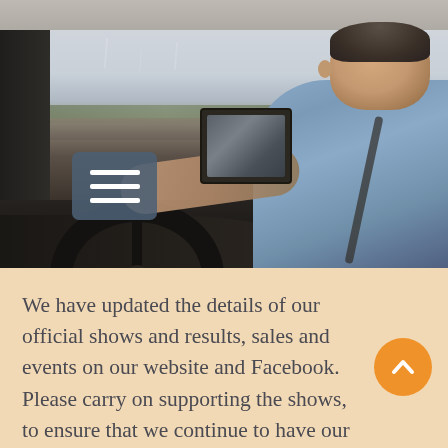[Figure (photo): A man in a light blue shirt driving a car, viewed from the passenger side. He is looking forward through the windshield. A hamburger menu icon button is overlaid on the left side of the image. The scene outside shows a highway and landscape.]
We have updated the details of our official shows and results, sales and events on our website and Facebook. Please carry on supporting the shows, to ensure that we continue to have our own classes in 2022 and into the future.